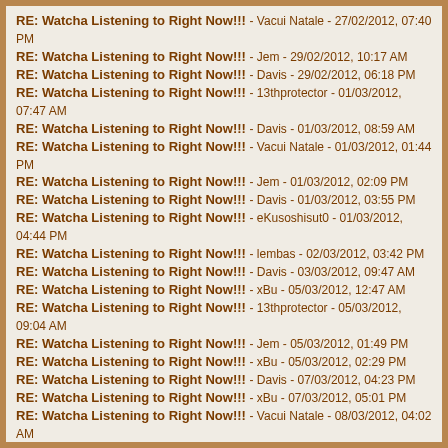RE: Watcha Listening to Right Now!!! - Vacui Natale - 27/02/2012, 07:40 PM
RE: Watcha Listening to Right Now!!! - Jem - 29/02/2012, 10:17 AM
RE: Watcha Listening to Right Now!!! - Davis - 29/02/2012, 06:18 PM
RE: Watcha Listening to Right Now!!! - 13thprotector - 01/03/2012, 07:47 AM
RE: Watcha Listening to Right Now!!! - Davis - 01/03/2012, 08:59 AM
RE: Watcha Listening to Right Now!!! - Vacui Natale - 01/03/2012, 01:44 PM
RE: Watcha Listening to Right Now!!! - Jem - 01/03/2012, 02:09 PM
RE: Watcha Listening to Right Now!!! - Davis - 01/03/2012, 03:55 PM
RE: Watcha Listening to Right Now!!! - eKusoshisut0 - 01/03/2012, 04:44 PM
RE: Watcha Listening to Right Now!!! - lembas - 02/03/2012, 03:42 PM
RE: Watcha Listening to Right Now!!! - Davis - 03/03/2012, 09:47 AM
RE: Watcha Listening to Right Now!!! - xBu - 05/03/2012, 12:47 AM
RE: Watcha Listening to Right Now!!! - 13thprotector - 05/03/2012, 09:04 AM
RE: Watcha Listening to Right Now!!! - Jem - 05/03/2012, 01:49 PM
RE: Watcha Listening to Right Now!!! - xBu - 05/03/2012, 02:29 PM
RE: Watcha Listening to Right Now!!! - Davis - 07/03/2012, 04:23 PM
RE: Watcha Listening to Right Now!!! - xBu - 07/03/2012, 05:01 PM
RE: Watcha Listening to Right Now!!! - Vacui Natale - 08/03/2012, 04:02 AM